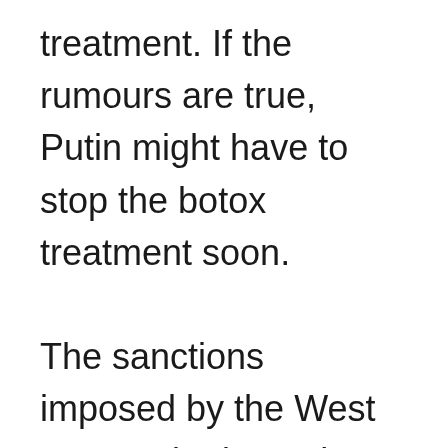treatment. If the rumours are true, Putin might have to stop the botox treatment soon.

The sanctions imposed by the West on Russia due to its war with Ukraine will affect President Vladimir